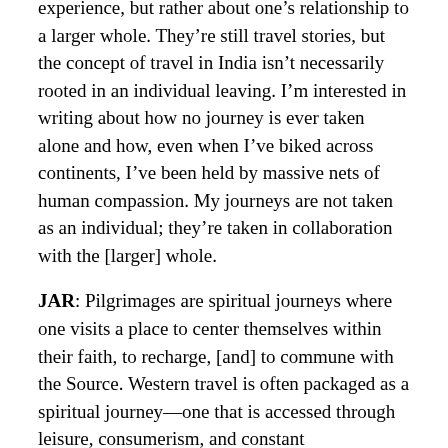experience, but rather about one's relationship to a larger whole. They're still travel stories, but the concept of travel in India isn't necessarily rooted in an individual leaving. I'm interested in writing about how no journey is ever taken alone and how, even when I've biked across continents, I've been held by massive nets of human compassion. My journeys are not taken as an individual; they're taken in collaboration with the [larger] whole.
JAR: Pilgrimages are spiritual journeys where one visits a place to center themselves within their faith, to recharge, [and] to commune with the Source. Western travel is often packaged as a spiritual journey—one that is accessed through leisure, consumerism, and constant consumption. Western travel lures people with the idea of relaxation and enlightenment as an end goal.